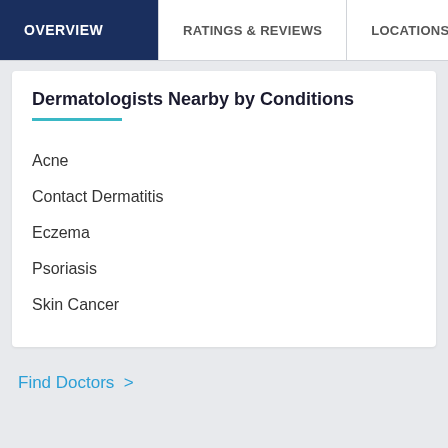OVERVIEW | RATINGS & REVIEWS | LOCATIONS | EX
Dermatologists Nearby by Conditions
Acne
Contact Dermatitis
Eczema
Psoriasis
Skin Cancer
Find Doctors >